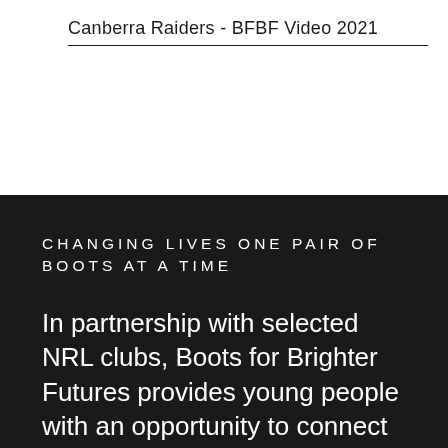Canberra Raiders - BFBF Video 2021
CHANGING LIVES ONE PAIR OF BOOTS AT A TIME
In partnership with selected NRL clubs, Boots for Brighter Futures provides young people with an opportunity to connect with their culture and identity through art by painting boots specifically for